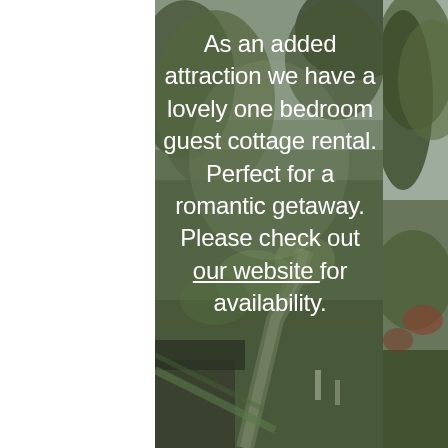[Figure (photo): A painterly outdoor scene showing a cottage or rural property with trees, a driveway path, and lush greenery. The image has a soft, impressionistic quality with muted greens and grays. A vertical white strip appears on the left side, and the right edge shows a separate strip with tree/foliage imagery.]
As an added attraction we have a lovely one bedroom guest cottage rental. Perfect for a romantic getaway. Please check out our website for availability.